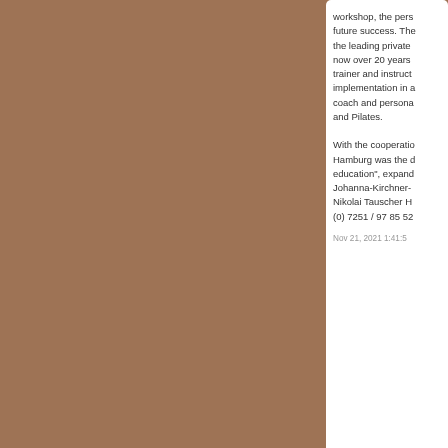workshop, the pers... future success. The... the leading private... now over 20 years... trainer and instruct... implementation in a... coach and persona... and Pilates.

With the cooperatio... Hamburg was the d... education", expand... Johanna-Kirchner-... Nikolai Tauscher H... (0) 7251 / 97 85 52...
Nov 21, 2021 1:41:5...
Comm...
The Ques...